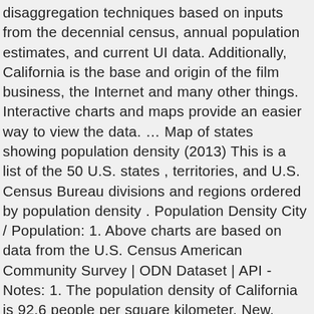disaggregation techniques based on inputs from the decennial census, annual population estimates, and current UI data. Additionally, California is the base and origin of the film business, the Internet and many other things. Interactive charts and maps provide an easier way to view the data. … Map of states showing population density (2013) This is a list of the 50 U.S. states , territories, and U.S. Census Bureau divisions and regions ordered by population density . Population Density City / Population: 1. Above charts are based on data from the U.S. Census American Community Survey | ODN Dataset | API - Notes: 1. The population density of California is 92.6 people per square kilometer. New. Figures and insights about the advertising and media world. Industry Outlook Land area updated every 10 years. The 7.6 million people who call the nine-county, 7,000-square-mile region home reside in 101 cities and in various unincorporated communities, the size and density of which vary widely. Population Density in the United States by City. and over 1 Mio. Density varies widely by county, however. ",